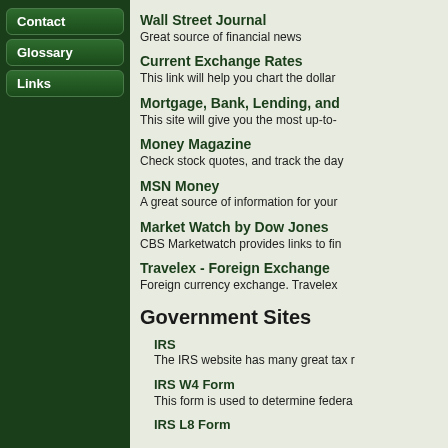Contact
Glossary
Links
Wall Street Journal
Great source of financial news
Current Exchange Rates
This link will help you chart the dollar
Mortgage, Bank, Lending, and
This site will give you the most up-to-
Money Magazine
Check stock quotes, and track the day
MSN Money
A great source of information for your
Market Watch by Dow Jones
CBS Marketwatch provides links to fi
Travelex - Foreign Exchange
Foreign currency exchange. Travelex
Government Sites
IRS
The IRS website has many great tax r
IRS W4 Form
This form is used to determine federa
IRS L8 Form